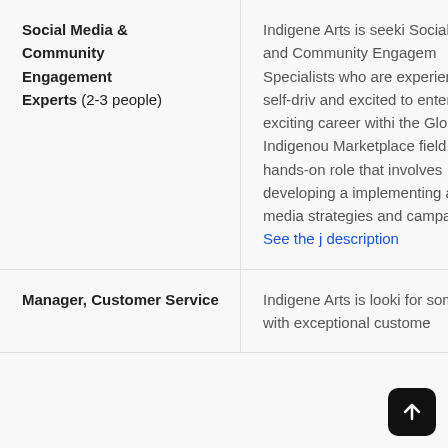| Role | Description |
| --- | --- |
| Social Media & Community Engagement Experts (2-3 people) | Indigene Arts is seeking Social Media and Community Engagement Specialists who are experienced, self-driven and excited to enter an exciting career within the Global Indigenous Marketplace field. This is a hands-on role that involves developing and implementing all social media strategies and campaigns. See the job description |
| Manager, Customer Service | Indigene Arts is looking for someone with exceptional customer... |